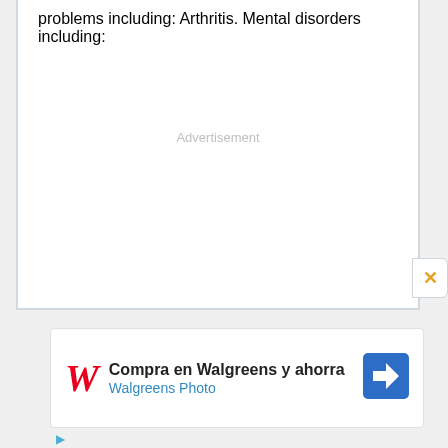problems including: Arthritis. Mental disorders including:
Advertisement
[Figure (screenshot): Walgreens advertisement banner: 'Compra en Walgreens y ahorra / Walgreens Photo' with Walgreens cursive W logo in red and a blue navigation arrow icon]